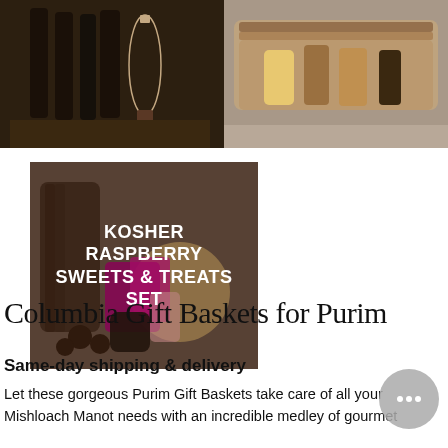[Figure (photo): Top-left photo of wine bottles and a wine glass on a wooden surface, dark/moody setting]
[Figure (photo): Top-right photo of a wicker gift basket with jars and bottles on a grey surface]
[Figure (photo): Bottom-left photo of a kosher gift set with wooden barrel, chocolates, jams, and sweets, overlaid with white text reading KOSHER RASPBERRY SWEETS & TREATS SET]
Columbia Gift Baskets for Purim
Same-day shipping & delivery
Let these gorgeous Purim Gift Baskets take care of all your Mishloach Manot needs with an incredible medley of gourmet